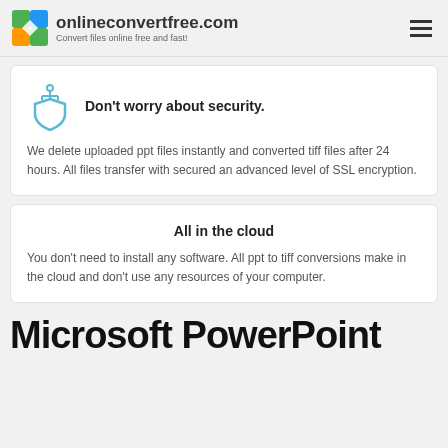onlineconvertfree.com — Convert files online free and fast!
Don't worry about security.
We delete uploaded ppt files instantly and converted tiff files after 24 hours. All files transfer with secured an advanced level of SSL encryption.
All in the cloud
You don't need to install any software. All ppt to tiff conversions make in the cloud and don't use any resources of your computer.
Microsoft PowerPoint